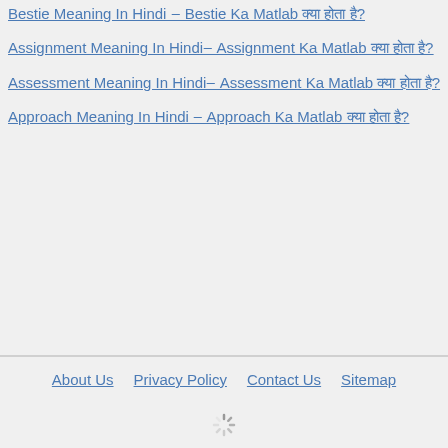Bestie Meaning In Hindi – Bestie Ka Matlab क्या होता है?
Assignment Meaning In Hindi– Assignment Ka Matlab क्या होता है?
Assessment Meaning In Hindi– Assessment Ka Matlab क्या होता है?
Approach Meaning In Hindi – Approach Ka Matlab क्या होता है?
About Us   Privacy Policy   Contact Us   Sitemap